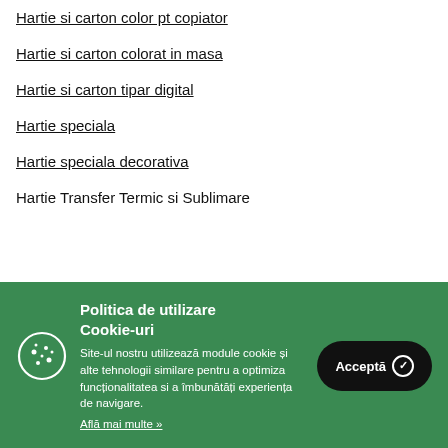Hartie si carton color pt copiator
Hartie si carton colorat in masa
Hartie si carton tipar digital
Hartie speciala
Hartie speciala decorativa
Hartie Transfer Termic si Sublimare
Politica de utilizare Cookie-uri
Site-ul nostru utilizează module cookie și alte tehnologii similare pentru a optimiza funcționalitatea si a îmbunătăți experiența de navigare.
Află mai multe »